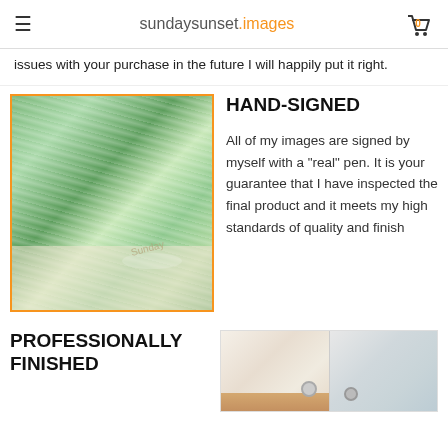sundaysunset.images — cart: 0
issues with your purchase in the future I will happily put it right.
[Figure (photo): Close-up photo of a green and white marbled canvas print, showing the side edge]
HAND-SIGNED
All of my images are signed by myself with a "real" pen. It is your guarantee that I have inspected the final product and it meets my high standards of quality and finish
PROFESSIONALLY FINISHED
[Figure (photo): Two photos side by side showing the back and edge finishing of canvas prints, with corner brackets and hanging hardware]